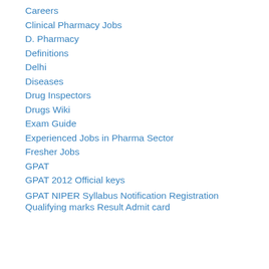Careers
Clinical Pharmacy Jobs
D. Pharmacy
Definitions
Delhi
Diseases
Drug Inspectors
Drugs Wiki
Exam Guide
Experienced Jobs in Pharma Sector
Fresher Jobs
GPAT
GPAT 2012 Official keys
GPAT NIPER Syllabus Notification Registration Qualifying marks Result Admit card